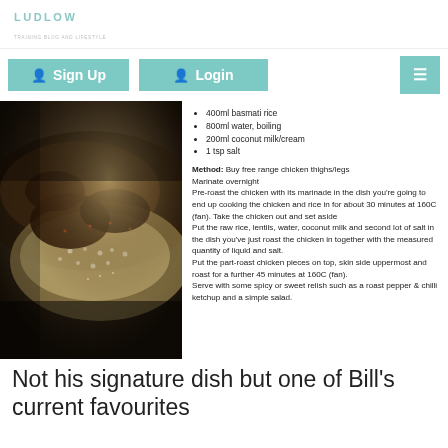LUDLOW
400ml basmati rice
800ml water, boiling
200ml coconut milk/cream
1 tsp salt
Method: Buy free range chicken thighs/legs Marinate overnight Pre-roast the chicken with its marinade in the dish you're going to end up cooking the chicken and rice in for about 30 minutes at 160C (fan). Take the chicken out and set aside Put the raw rice, lentils, water, coconut milk and second lot of salt in the dish you've just roast the chicken in together with the measured quantity of liquid and salt. Put the part-roast chicken pieces on top, skin side uppermost and roast for a further 45 minutes at 160C (fan). Serve with some spicy or sweet relish such as a roast pepper & chilli ketchup and a simple salad.
[Figure (photo): Close-up photo of a roasted chicken dish with rice and toppings in a baking dish, dark moody food photography style]
Not his signature dish but one of Bill's current favourites